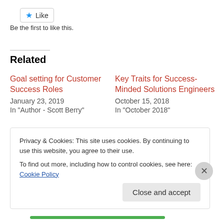[Figure (other): Like button with blue star icon]
Be the first to like this.
Related
Goal setting for Customer Success Roles
January 23, 2019
In "Author - Scott Berry"
Key Traits for Success-Minded Solutions Engineers
October 15, 2018
In "October 2018"
The Future of Customer Success
February 4, 2019
In "Author - Joe Huber"
Privacy & Cookies: This site uses cookies. By continuing to use this website, you agree to their use.
To find out more, including how to control cookies, see here: Cookie Policy